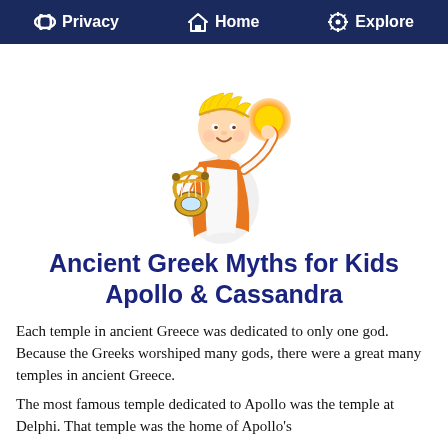Privacy   Home   Explore
[Figure (illustration): Cartoon illustration of Apollo, a young Greek god with golden laurel wreath, wearing a white and orange toga, holding a golden lyre in one hand and a glowing golden orb in the other hand.]
Ancient Greek Myths for Kids
Apollo & Cassandra
Each temple in ancient Greece was dedicated to only one god. Because the Greeks worshiped many gods, there were a great many temples in ancient Greece.
The most famous temple dedicated to Apollo was the temple at Delphi. That temple was the home of Apollo's